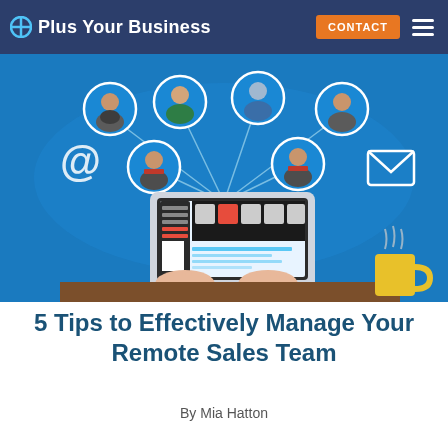+ Plus Your Business | CONTACT
[Figure (illustration): Illustration of a person typing on a laptop with video conferencing software open, connected to six remote team member avatars in circles above, with @ and email envelope icons, against a blue world map background. A yellow coffee mug is on the right side.]
5 Tips to Effectively Manage Your Remote Sales Team
By Mia Hatton